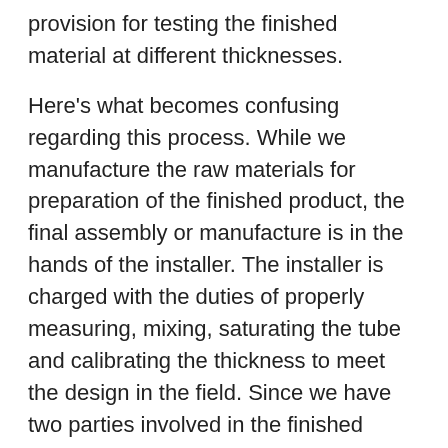provision for testing the finished material at different thicknesses.
Here's what becomes confusing regarding this process. While we manufacture the raw materials for preparation of the finished product, the final assembly or manufacture is in the hands of the installer. The installer is charged with the duties of properly measuring, mixing, saturating the tube and calibrating the thickness to meet the design in the field. Since we have two parties involved in the finished product we can test the components in the laboratory, but those results may vary widely from what is found in the field. Here's an example of why; we manufacture pure or neat resin and test the resin for strength prior to impregnating the material. Our resin is then cured and tested without tube and the results are published showing a flexural modulus